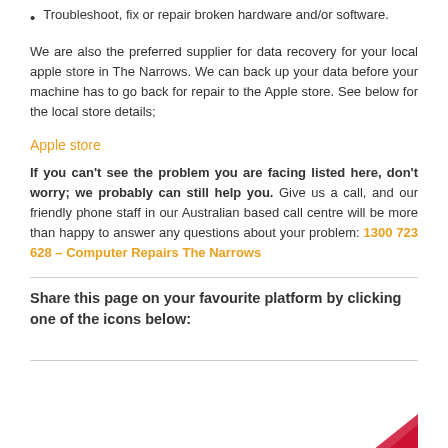Troubleshoot, fix or repair broken hardware and/or software.
We are also the preferred supplier for data recovery for your local apple store in The Narrows. We can back up your data before your machine has to go back for repair to the Apple store. See below for the local store details;
Apple store
If you can't see the problem you are facing listed here, don't worry; we probably can still help you. Give us a call, and our friendly phone staff in our Australian based call centre will be more than happy to answer any questions about your problem: 1300 723 628 – Computer Repairs The Narrows
Share this page on your favourite platform by clicking one of the icons below: